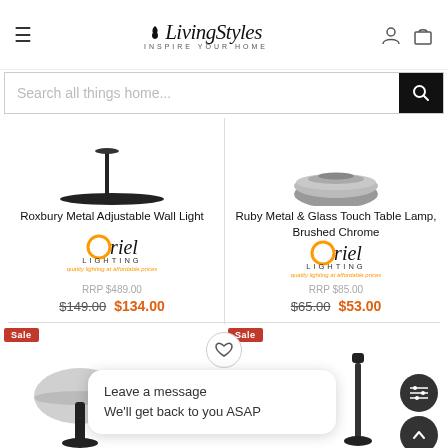LivingStyles — INSPIRE YOUR HOME
Search all things home...
[Figure (photo): Roxbury Metal Adjustable Wall Light product image — dark curved arm silhouette]
Roxbury Metal Adjustable Wall Light
[Figure (logo): Oriel Lighting logo]
RRP $489.00
$149.00  $134.00
[Figure (photo): Ruby Metal & Glass Touch Table Lamp, Brushed Chrome product image — chrome dome base]
Ruby Metal & Glass Touch Table Lamp, Brushed Chrome
[Figure (logo): Oriel Lighting logo]
RRP $85.00
$65.00  $53.00
Sale
Sale
Leave a message
We'll get back to you ASAP